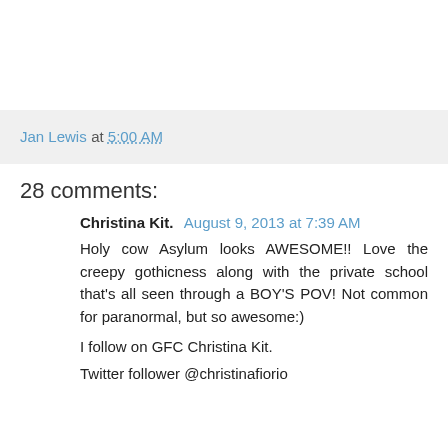Jan Lewis at 5:00 AM
28 comments:
Christina Kit.  August 9, 2013 at 7:39 AM
Holy cow Asylum looks AWESOME!! Love the creepy gothicness along with the private school that's all seen through a BOY'S POV! Not common for paranormal, but so awesome:)
I follow on GFC Christina Kit.
Twitter follower @christinafiorio